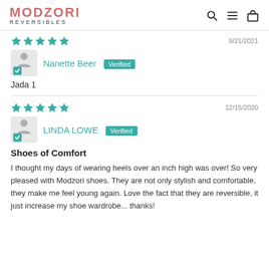MODZORI REVERSIBLES
[Figure (illustration): Five teal/turquoise filled stars rating (partially cropped at top) with date 9/21/2021]
Nanette Beer  Verified
Jada 1
[Figure (illustration): Five teal/turquoise filled stars rating with date 12/15/2020]
LINDA LOWE  Verified
Shoes of Comfort
I thought my days of wearing heels over an inch high was over! So very pleased with Modzori shoes. They are not only stylish and comfortable, they make me feel young again. Love the fact that they are reversible, it just increase my shoe wardrobe... thanks!